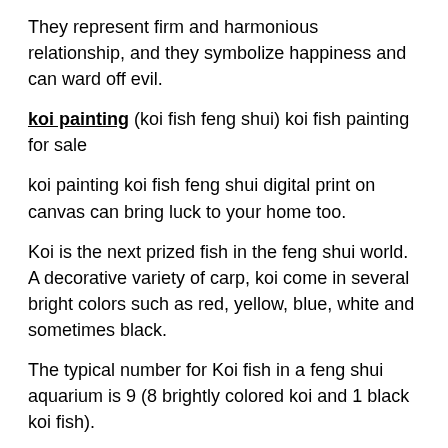They represent firm and harmonious relationship, and they symbolize happiness and can ward off evil.
koi painting (koi fish feng shui) koi fish painting for sale
koi painting koi fish feng shui digital print on canvas can bring luck to your home too.
Koi is the next prized fish in the feng shui world. A decorative variety of carp, koi come in several bright colors such as red, yellow, blue, white and sometimes black.
The typical number for Koi fish in a feng shui aquarium is 9 (8 brightly colored koi and 1 black koi fish).
The black fish is there to neutralize bad luck. You can also find feng shui cures with 2 koi fish, this being a…